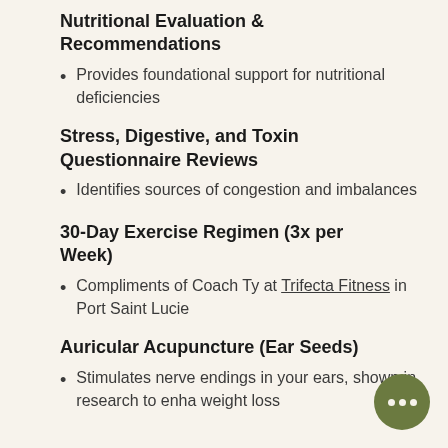Nutritional Evaluation & Recommendations
Provides foundational support for nutritional deficiencies
Stress, Digestive, and Toxin Questionnaire Reviews
Identifies sources of congestion and imbalances
30-Day Exercise Regimen (3x per Week)
Compliments of Coach Ty at Trifecta Fitness in Port Saint Lucie
Auricular Acupuncture (Ear Seeds)
Stimulates nerve endings in your ears, shown in research to enhance weight loss